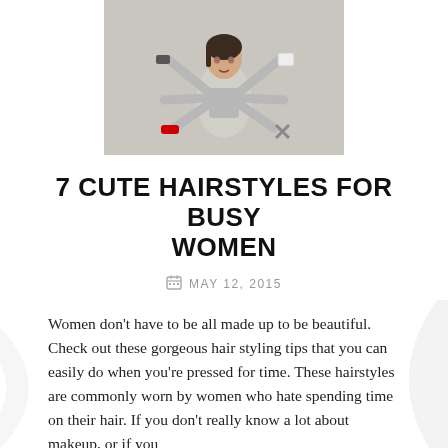[Figure (photo): A woman with multiple arms holding various items including a phone, notebook, iron, scissors, and cosmetics, set against a grey background]
7 CUTE HAIRSTYLES FOR BUSY WOMEN
MAY 12, 2015
Women don't have to be all made up to be beautiful. Check out these gorgeous hair styling tips that you can easily do when you're pressed for time. These hairstyles are commonly worn by women who hate spending time on their hair. If you don't really know a lot about makeup, or if you